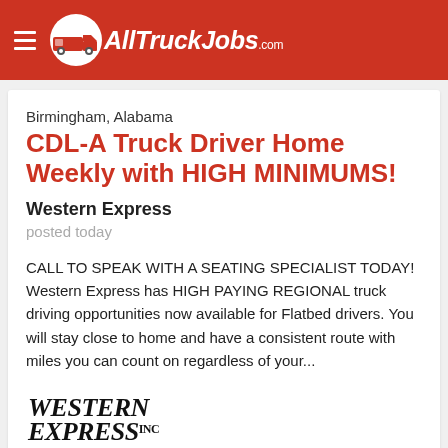AllTruckJobs.com
Birmingham, Alabama
CDL-A Truck Driver Home Weekly with HIGH MINIMUMS!
Western Express
posted today
CALL TO SPEAK WITH A SEATING SPECIALIST TODAY! Western Express has HIGH PAYING REGIONAL truck driving opportunities now available for Flatbed drivers. You will stay close to home and have a consistent route with miles you can count on regardless of your...
[Figure (logo): Western Express logo in black serif bold text]